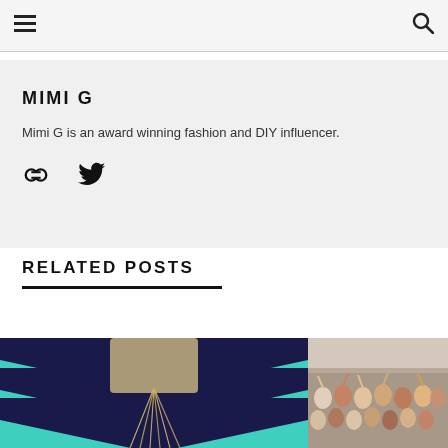Navigation bar with menu and search icons
MIMI G
Mimi G is an award winning fashion and DIY influencer.
[Figure (other): Social icons: link/chain icon and Twitter bird icon]
RELATED POSTS
[Figure (photo): Close-up photo of a person wearing a teal and navy chevron striped top with layered gold chain necklaces, blonde hair visible]
[Figure (photo): Group photo of a large crowd of people in a hall, many with hands raised]